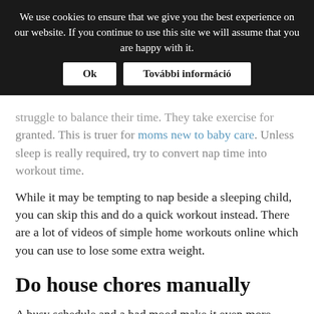We use cookies to ensure that we give you the best experience on our website. If you continue to use this site we will assume that you are happy with it. Ok | További információ
struggle to balance their time. They take exercise for granted. This is truer for moms new to baby care. Unless sleep is really required, try to convert nap time into workout time.
While it may be tempting to nap beside a sleeping child, you can skip this and do a quick workout instead. There are a lot of videos of simple home workouts online which you can use to lose some extra weight.
Do house chores manually
A busy schedule and a bad mood make it even more enticing to use the latest home-cleaning advancements. Why not simply forget about them and do the cleaning the old-fashion way?